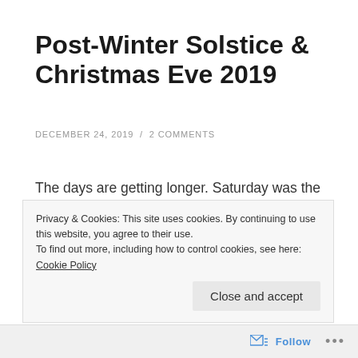Post-Winter Solstice & Christmas Eve 2019
DECEMBER 24, 2019  /  2 COMMENTS
The days are getting longer. Saturday was the Winter Solstice, the shortest day of the year. Over the years, I sometimes get the notion that I can feel the days getting shorter. When I was younger, I never thought of it in terms of light and dark. I was usually to distracted by Christmas.
Privacy & Cookies: This site uses cookies. By continuing to use this website, you agree to their use.
To find out more, including how to control cookies, see here: Cookie Policy
Follow  ...